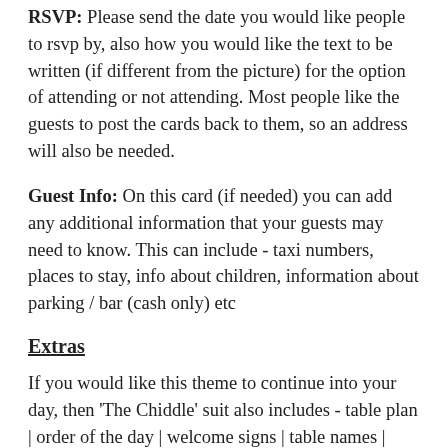RSVP: Please send the date you would like people to rsvp by, also how you would like the text to be written (if different from the picture) for the option of attending or not attending. Most people like the guests to post the cards back to them, so an address will also be needed.
Guest Info: On this card (if needed) you can add any additional information that your guests may need to know. This can include - taxi numbers, places to stay, info about children, information about parking / bar (cash only) etc
Extras
If you would like this theme to continue into your day, then 'The Chiddle' suit also includes - table plan | order of the day | welcome signs | table names | Guest name cards | table menus | evening invites (these can be found in 'The Chiddle'